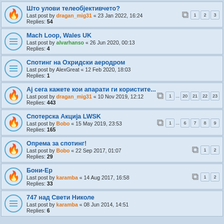Што улови телеобјективчето? Last post by dragan_mig31 « 23 Jan 2022, 16:24 Replies: 54
Mach Loop, Wales UK Last post by alvarhanso « 26 Jun 2020, 00:13 Replies: 4
Спотинг на Охридски аеродром Last post by AlexGreat « 12 Feb 2020, 18:03 Replies: 1
Аj сега кажете кои апарати ги користите... Last post by dragan_mig31 « 10 Nov 2019, 12:12 Replies: 443
Спотерска Акција LWSK Last post by Bobo « 15 May 2019, 23:53 Replies: 165
Опрема за спотинг! Last post by Bobo « 22 Sep 2017, 01:07 Replies: 29
Бони-Ер Last post by karamba « 14 Aug 2017, 16:58 Replies: 33
747 над Свети Николе Last post by karamba « 08 Jun 2014, 14:51 Replies: 6